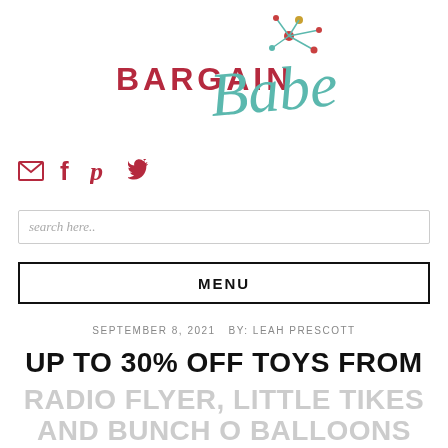[Figure (logo): Bargain Babe logo with teal cursive 'Babe' and red/crimson uppercase 'BARGAIN', topped with a starburst/atomic decoration in teal, red, and gold]
[Figure (infographic): Social media icons: envelope/email, Facebook f, Pinterest P, Twitter bird — all in crimson/dark red color]
search here..
MENU
SEPTEMBER 8, 2021 BY: LEAH PRESCOTT
UP TO 30% OFF TOYS FROM RADIO FLYER, LITTLE TIKES AND BUNCH O BALLOONS